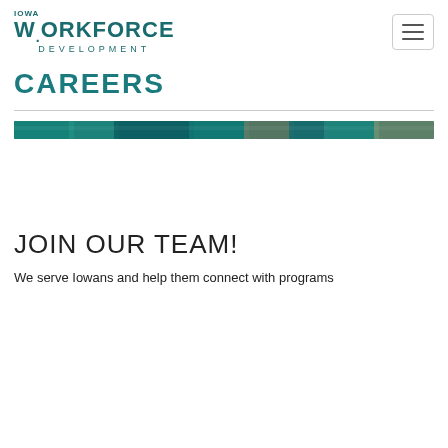IOWA WORKFORCE DEVELOPMENT
CAREERS
[Figure (photo): A narrow horizontal banner photo showing a group of diverse people, cropped tightly, with teal/green tones.]
JOIN OUR TEAM!
We serve Iowans and help them connect with programs